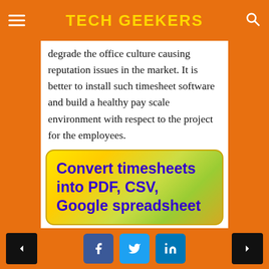TECH GEEKERS
degrade the office culture causing reputation issues in the market. It is better to install such timesheet software and build a healthy pay scale environment with respect to the project for the employees.
[Figure (infographic): Yellow-green gradient rounded banner with bold blue text: Convert timesheets into PDF, CSV, Google spreadsheet]
If you make use of such a software for the employees, they no longer have to rely on an office desktop to send reports and notify their work. They can send via any device in any
< [Facebook] [Twitter] [LinkedIn] >